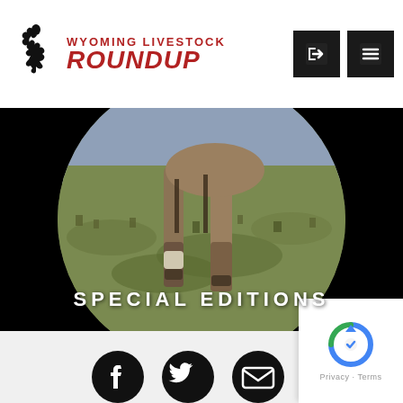[Figure (logo): Wyoming Livestock Roundup logo with bucking horse silhouette and red text]
[Figure (photo): Circular hero image showing horse legs and feet in grassy rangeland, on black background, with SPECIAL EDITIONS text overlay]
SPECIAL EDITIONS
[Figure (infographic): Social media icons: Facebook, Twitter, Email on light gray footer background]
[Figure (other): reCAPTCHA badge with Google logo, Privacy and Terms links]